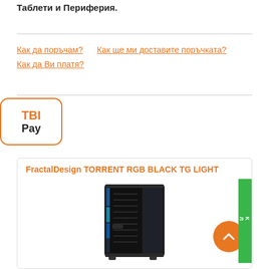Таблети и Периферия.
Как да поръчам?   Как ще ми доставите поръчката?   Как да Ви платя?
[Figure (logo): TBI Pay logo - orange border rounded rectangle, TBI in orange bold, Pay in black bold]
FractalDesign TORRENT RGB BLACK TG LIGHT
[Figure (photo): PC case - FractalDesign TORRENT RGB BLACK TG LIGHT computer case, black with RGB lighting strips, angled front view. Orange scroll-to-top button and green discount badge visible on right side.]